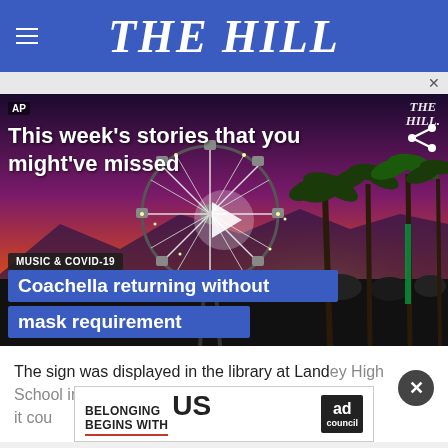THE HILL
[Figure (screenshot): Video thumbnail showing Coachella festival scene with Ferris wheel, palm trees, and sunset sky. Overlay text: 'This week's stories that you might've missed'. Blue bars at bottom: 'MUSIC & COVID-19', 'Coachella returning without mask requirement'. Play button visible.]
The sign was displayed in the library at Landey High School in McLean, Va. In photos posted on Twitter, it cou... includ...